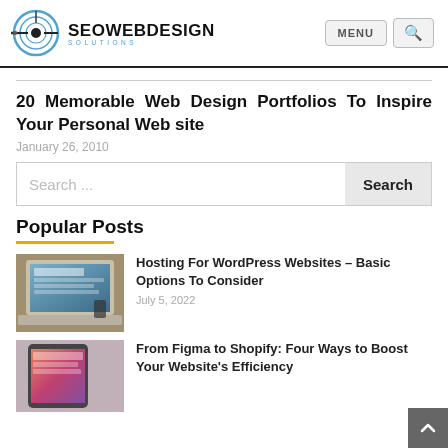SEO WEBDESIGN SOLUTIONS — MENU [search button]
20 Memorable Web Design Portfolios To Inspire Your Personal Web site
January 26, 2010
Search ...
Popular Posts
[Figure (photo): Laptop computer on a wooden desk with notebook and coffee cup]
Hosting For WordPress Websites – Basic Options To Consider
July 5, 2022
[Figure (photo): Tablet device displaying a colorful website or app]
From Figma to Shopify: Four Ways to Boost Your Website's Efficiency